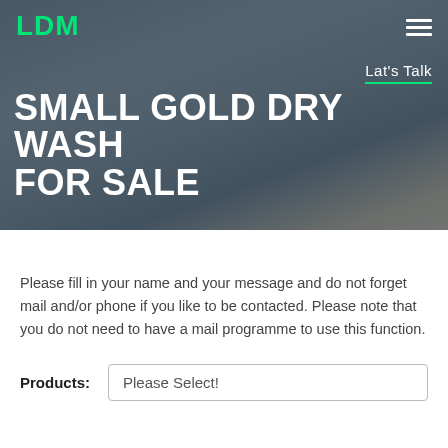LDM
SMALL GOLD DRY WASH FOR SALE
Lat's Talk
Please fill in your name and your message and do not forget mail and/or phone if you like to be contacted. Please note that you do not need to have a mail programme to use this function.
Products:  Please Select!